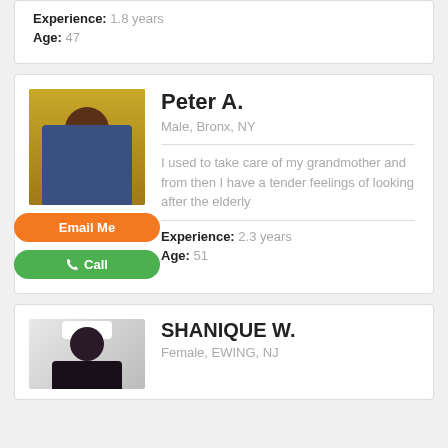Experience: 1.8 years
Age: 47
Peter A.
Male, Bronx, NY
I used to take care of my grandmother and from then I have a tender feelings of looking after the elderly
Experience: 2.3 years
Age: 51
SHANIQUE W.
Female, EWING, NJ